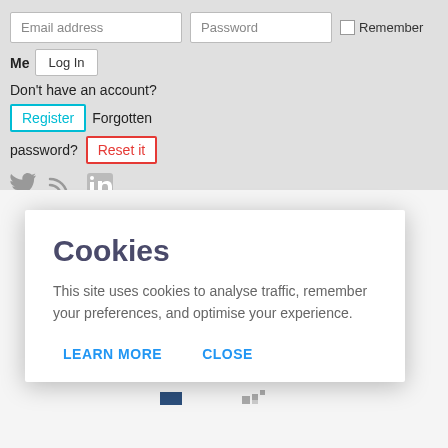Email address
Password
Remember Me
Log In
Don't have an account?
Register
Forgotten password?
Reset it
[Figure (screenshot): Social media icons: Twitter bird, RSS feed, LinkedIn]
Cookies
This site uses cookies to analyse traffic, remember your preferences, and optimise your experience.
LEARN MORE
CLOSE
SUPPLIERS GUIDE
Your search for suppliers of "Clinical Waste Management"